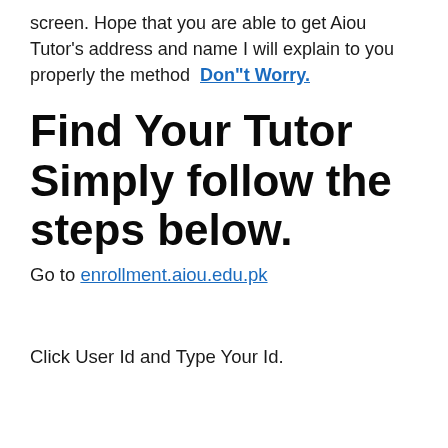screen. Hope that you are able to get Aiou Tutor's address and name I will explain to you properly the method  Don"t Worry.
Find Your Tutor Simply follow the steps below.
Go to enrollment.aiou.edu.pk
Click User Id and Type Your Id.